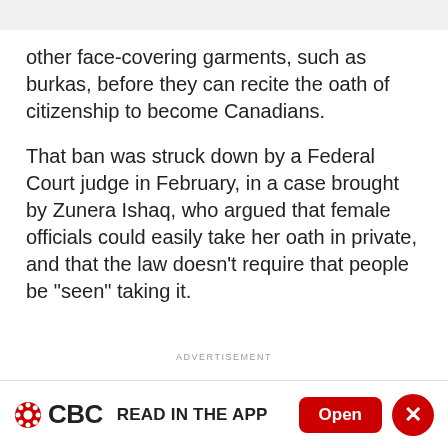other face-covering garments, such as burkas, before they can recite the oath of citizenship to become Canadians.
That ban was struck down by a Federal Court judge in February, in a case brought by Zunera Ishaq, who argued that female officials could easily take her oath in private, and that the law doesn't require that people be "seen" taking it.
ADVERTISEMENT
All that's needed, the judge agreed, is for citizenship
CBC READ IN THE APP  Open